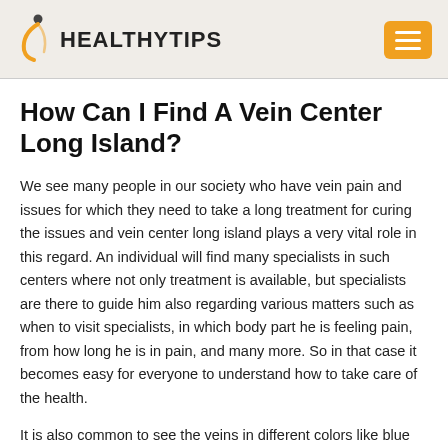HEALTHYTIPS
How Can I Find A Vein Center Long Island?
We see many people in our society who have vein pain and issues for which they need to take a long treatment for curing the issues and vein center long island plays a very vital role in this regard. An individual will find many specialists in such centers where not only treatment is available, but specialists are there to guide him also regarding various matters such as when to visit specialists, in which body part he is feeling pain, from how long he is in pain, and many more. So in that case it becomes easy for everyone to understand how to take care of the health.
It is also common to see the veins in different colors like blue and purple. Again, sometimes, it is swollen, enlarged, and twisted when it becomes necessary to make an appointment in a vein